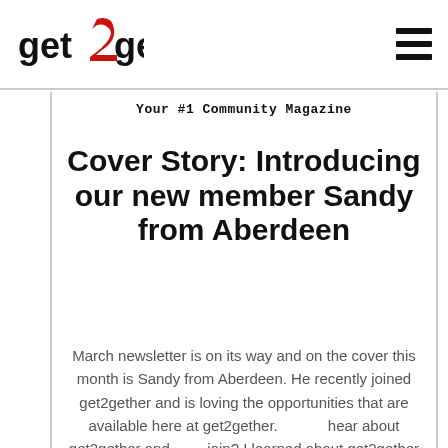[Figure (logo): get2gether logo with red stylized '2' and black text]
Your #1 Community Magazine
Cover Story: Introducing our new member Sandy from Aberdeen
March newsletter is on its way and on the cover this month is Sandy from Aberdeen. He recently joined get2gether and is loving the opportunities that are available here at get2gether. d hear about get2gether and d join? I learned about get2gether through SCLD; it was a video...